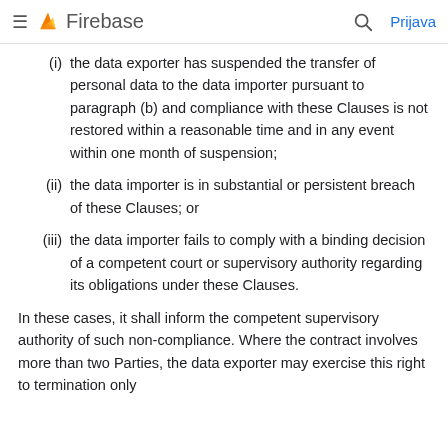Firebase — Prijava
(i) the data exporter has suspended the transfer of personal data to the data importer pursuant to paragraph (b) and compliance with these Clauses is not restored within a reasonable time and in any event within one month of suspension;
(ii) the data importer is in substantial or persistent breach of these Clauses; or
(iii) the data importer fails to comply with a binding decision of a competent court or supervisory authority regarding its obligations under these Clauses.
In these cases, it shall inform the competent supervisory authority of such non-compliance. Where the contract involves more than two Parties, the data exporter may exercise this right to termination only